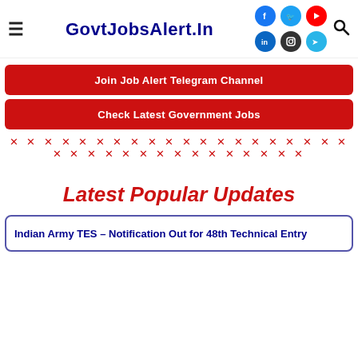GovtJobsAlert.In
Join Job Alert Telegram Channel
Check Latest Government Jobs
× × × × × × × × × × × × × × × × × × × × × × × × × × × × × × × × × × ×
Latest Popular Updates
Indian Army TES – Notification Out for 48th Technical Entry